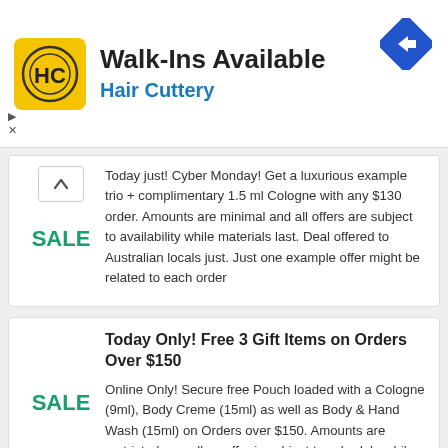[Figure (logo): Hair Cuttery advertisement banner with HC logo, Walk-Ins Available text, blue direction road sign icon, and ad controls]
Today just! Cyber Monday! Get a luxurious example trio + complimentary 1.5 ml Cologne with any $130 order. Amounts are minimal and all offers are subject to availability while materials last. Deal offered to Australian locals just. Just one example offer might be related to each order
Today Only! Free 3 Gift Items on Orders Over $150
Online Only! Secure free Pouch loaded with a Cologne (9ml), Body Creme (15ml) as well as Body & Hand Wash (15ml) on Orders over $150. Amounts are restricted as well as offer is subject to schedule while materials last. Only one